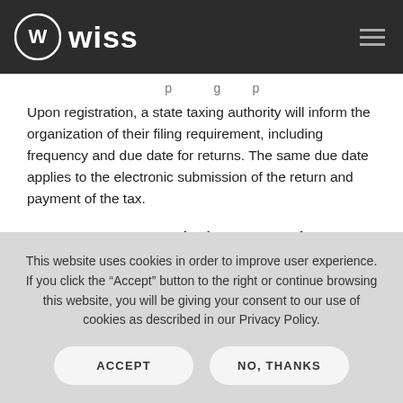Wiss
Upon registration, a state taxing authority will inform the organization of their filing requirement, including frequency and due date for returns. The same due date applies to the electronic submission of the return and payment of the tax.
Some Tax-Exempt organizations may need to pay sales tax on their purchases unless the organization applied and
This website uses cookies in order to improve user experience. If you click the “Accept” button to the right or continue browsing this website, you will be giving your consent to our use of cookies as described in our Privacy Policy.
ACCEPT
NO, THANKS